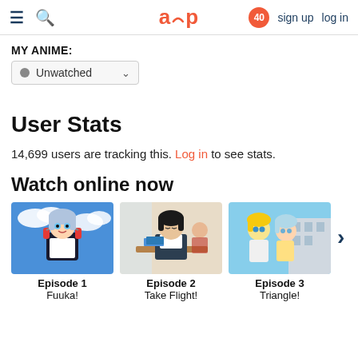aup — sign up  log in  [notification: 40]
MY ANIME:
Unwatched
User Stats
14,699 users are tracking this. Log in to see stats.
Watch online now
[Figure (illustration): Anime episode thumbnails: Episode 1 Fuuka!, Episode 2 Take Flight!, Episode 3 Triangle!]
Episode 1
Fuuka!
Episode 2
Take Flight!
Episode 3
Triangle!